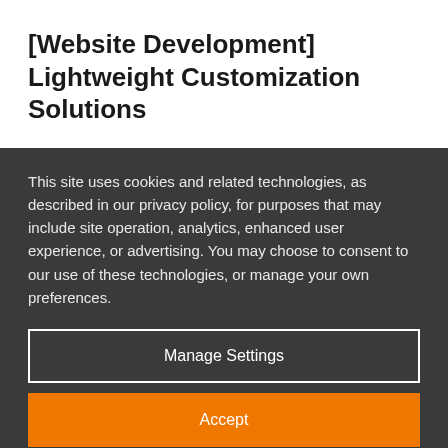[Website Development] Lightweight Customization Solutions
This site uses cookies and related technologies, as described in our privacy policy, for purposes that may include site operation, analytics, enhanced user experience, or advertising. You may choose to consent to our use of these technologies, or manage your own preferences.
Manage Settings
Accept
Decline All
Privacy Policy